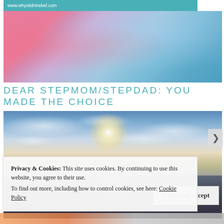www.whyididntrebel.com
[Figure (photo): Colorful abstract banner image with pink, purple, and teal/blue tones]
DEAR STEPMOM/STEPDAD: YOU MADE THE CHOICE
[Figure (photo): Seascape photograph showing a sailboat on calm water with a bright sun and cloudy sky]
Privacy & Cookies: This site uses cookies. By continuing to use this website, you agree to their use.
To find out more, including how to control cookies, see here: Cookie Policy
Close and accept